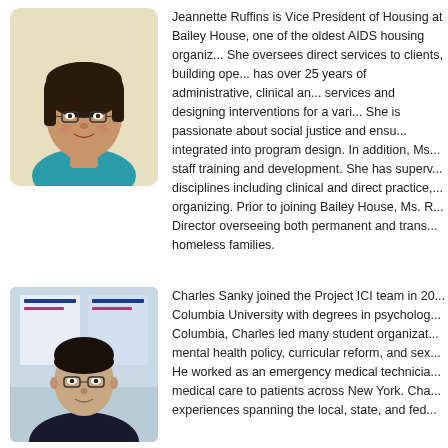[Figure (photo): Headshot of Jeannette Ruffins, a woman with glasses and short dark hair, wearing a teal top, against a light yellow background.]
Jeannette Ruffins is Vice President of Housing at Bailey House, one of the oldest AIDS housing organizations. She oversees direct services to clients, building operations and has over 25 years of administrative, clinical and direct services and designing interventions for a variety of issues. She is passionate about social justice and ensuring equity is integrated into program design. In addition, Ms. Ruffins leads staff training and development. She has supervised across disciplines including clinical and direct practice, and community organizing. Prior to joining Bailey House, Ms. Ruffins was a Director overseeing both permanent and transitional housing for homeless families.
[Figure (photo): Headshot of Charles Sanky, a young man with glasses wearing a suit and tie, standing in front of a poster presentation at a conference.]
Charles Sanky joined the Project ICI team in 2016 from Columbia University with degrees in psychology and sociology. At Columbia, Charles led many student organizations focused on mental health policy, curricular reform, and sexual health. He worked as an emergency medical technician providing medical care to patients across New York. Charles has experiences spanning the local, state, and federal...